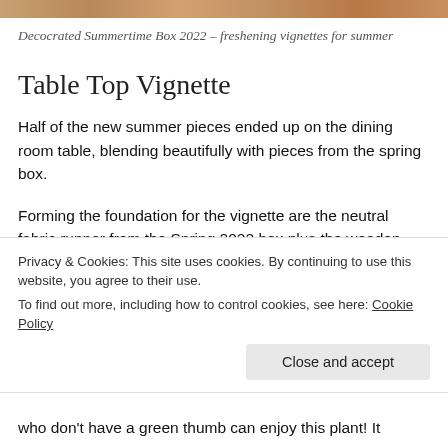[Figure (photo): Top edge of a photo showing a warm-toned wooden surface with items from a summer decor box.]
Decocrated Summertime Box 2022 – freshening vignettes for summer
Table Top Vignette
Half of the new summer pieces ended up on the dining room table, blending beautifully with pieces from the spring box.
Forming the foundation for the vignette are the neutral fabric runner from the Spring 2022 box plus the wooden
Privacy & Cookies: This site uses cookies. By continuing to use this website, you agree to their use.
To find out more, including how to control cookies, see here: Cookie Policy
who don't have a green thumb can enjoy this plant! It